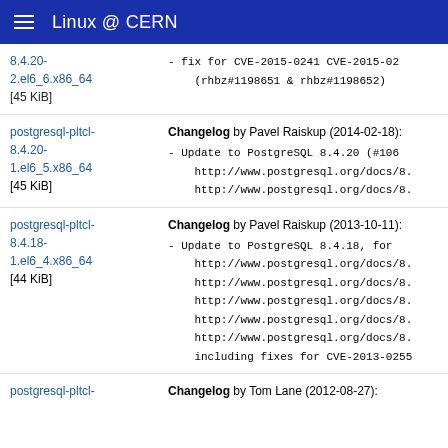Linux @ CERN
8.4.20-2.el6_6.x86_64 [45 KiB] - fix for CVE-2015-0241 CVE-2015-02 (rhbz#1198651 & rhbz#1198652)
postgresql-pltcl-8.4.20-1.el6_5.x86_64 [45 KiB] Changelog by Pavel Raiskup (2014-02-18): - Update to PostgreSQL 8.4.20 (#106 http://www.postgresql.org/docs/8. http://www.postgresql.org/docs/8.
postgresql-pltcl-8.4.18-1.el6_4.x86_64 [44 KiB] Changelog by Pavel Raiskup (2013-10-11): - Update to PostgreSQL 8.4.18, for http://www.postgresql.org/docs/8. http://www.postgresql.org/docs/8. http://www.postgresql.org/docs/8. http://www.postgresql.org/docs/8. http://www.postgresql.org/docs/8. including fixes for CVE-2013-0255
postgresql-pltcl- Changelog by Tom Lane (2012-08-27):